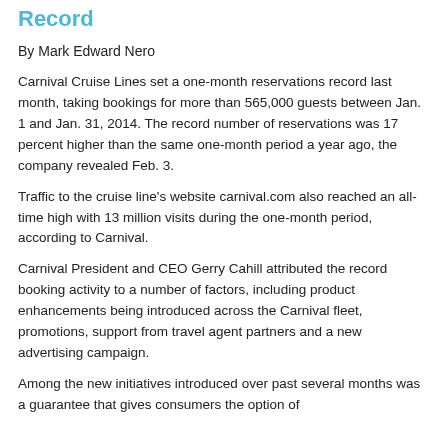Record
By Mark Edward Nero
Carnival Cruise Lines set a one-month reservations record last month, taking bookings for more than 565,000 guests between Jan. 1 and Jan. 31, 2014. The record number of reservations was 17 percent higher than the same one-month period a year ago, the company revealed Feb. 3.
Traffic to the cruise line's website carnival.com also reached an all-time high with 13 million visits during the one-month period, according to Carnival.
Carnival President and CEO Gerry Cahill attributed the record booking activity to a number of factors, including product enhancements being introduced across the Carnival fleet, promotions, support from travel agent partners and a new advertising campaign.
Among the new initiatives introduced over past several months was a guarantee that gives consumers the option of